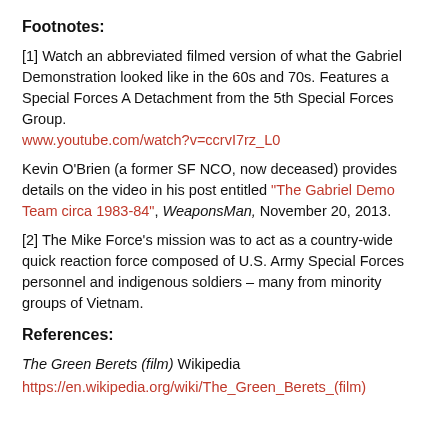Footnotes:
[1] Watch an abbreviated filmed version of what the Gabriel Demonstration looked like in the 60s and 70s. Features a Special Forces A Detachment from the 5th Special Forces Group.
www.youtube.com/watch?v=ccrvI7rz_L0
Kevin O’Brien (a former SF NCO, now deceased) provides details on the video in his post entitled “The Gabriel Demo Team circa 1983-84”, WeaponsMan, November 20, 2013.
[2] The Mike Force’s mission was to act as a country-wide quick reaction force composed of U.S. Army Special Forces personnel and indigenous soldiers – many from minority groups of Vietnam.
References:
The Green Berets (film) Wikipedia
https://en.wikipedia.org/wiki/The_Green_Berets_(film)